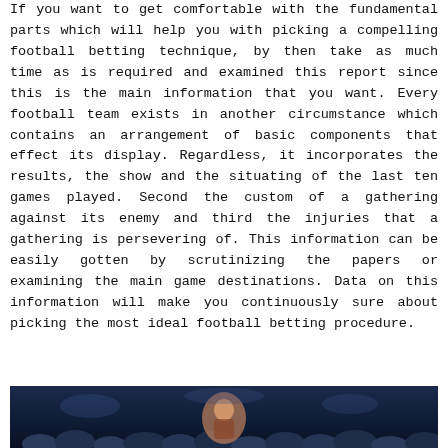If you want to get comfortable with the fundamental parts which will help you with picking a compelling football betting technique, by then take as much time as is required and examined this report since this is the main information that you want. Every football team exists in another circumstance which contains an arrangement of basic components that effect its display. Regardless, it incorporates the results, the show and the situating of the last ten games played. Second the custom of a gathering against its enemy and third the injuries that a gathering is persevering of. This information can be easily gotten by scrutinizing the papers or examining the main game destinations. Data on this information will make you continuously sure about picking the most ideal football betting procedure.
[Figure (photo): A photo of a football crowd scene at the bottom of the page, showing spectators in a stadium setting with dark background lighting.]